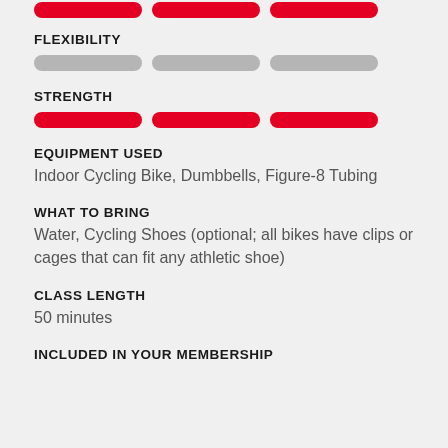[Figure (infographic): Three red rounded horizontal bars representing a rating at the top of the page]
FLEXIBILITY
[Figure (infographic): Three gray rounded horizontal bars representing flexibility rating (low/empty)]
STRENGTH
[Figure (infographic): Three red rounded horizontal bars representing strength rating (full/high)]
EQUIPMENT USED
Indoor Cycling Bike, Dumbbells, Figure-8 Tubing
WHAT TO BRING
Water, Cycling Shoes (optional; all bikes have clips or cages that can fit any athletic shoe)
CLASS LENGTH
50 minutes
INCLUDED IN YOUR MEMBERSHIP